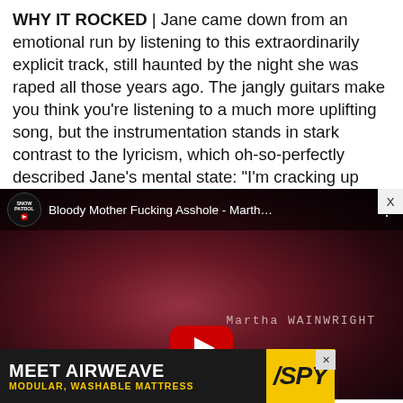WHY IT ROCKED | Jane came down from an emotional run by listening to this extraordinarily explicit track, still haunted by the night she was raped all those years ago. The jangly guitars make you think you're listening to a much more uplifting song, but the instrumentation stands in stark contrast to the lyricism, which oh-so-perfectly described Jane's mental state: "I'm cracking up and you have no idea." Well, we had some idea.
[Figure (screenshot): YouTube video thumbnail for 'Bloody Mother Fucking Asshole - Martha Wainwright' with Snow Patrol channel icon, showing a close-up of a face with a reddish-pink tint, and a YouTube play button at the bottom center.]
[Figure (screenshot): Advertisement banner for Airweave: 'MEET AIRWEAVE - MODULAR, WASHABLE MATTRESS' with SPY logo on yellow background.]